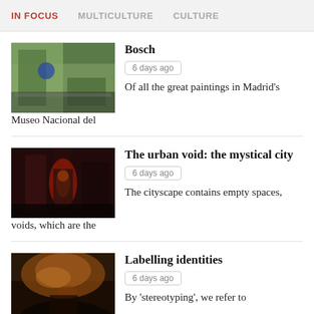IN FOCUS  MULTICULTURE  CULTURE
Bosch
6 days ago
Of all the great paintings in Madrid's Museo Nacional del
The urban void: the mystical city
6 days ago
The cityscape contains empty spaces, voids, which are the
Labelling identities
6 days ago
By 'stereotyping', we refer to labelling a